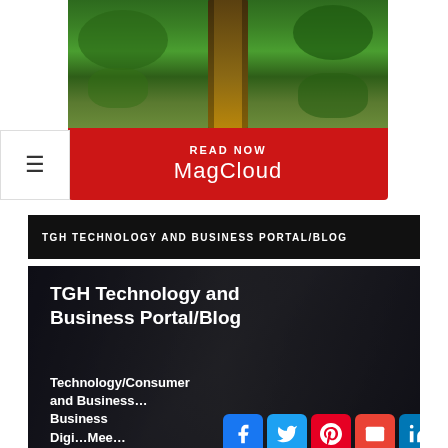[Figure (screenshot): Hamburger menu icon (three horizontal lines) on white background]
[Figure (illustration): MagCloud advertisement banner with forest road photo, red banner reading READ NOW and MagCloud logo]
TGH TECHNOLOGY AND BUSINESS PORTAL/BLOG
[Figure (screenshot): TGH Technology and Business Portal/Blog page banner with dark overlay showing title 'TGH Technology and Business Portal/Blog', subtitle text about Technology/Consumer and Business topics, and a grid of social media sharing icons including Facebook, Twitter, Pinterest, Email, LinkedIn, WhatsApp, Copy link, Telegram, Flipboard, WeChat, Gmail, and More]